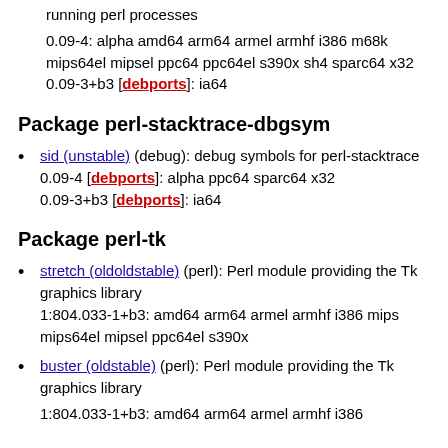running perl processes
0.09-4: alpha amd64 arm64 armel armhf i386 m68k mips64el mipsel ppc64 ppc64el s390x sh4 sparc64 x32
0.09-3+b3 [debports]: ia64
Package perl-stacktrace-dbgsym
sid (unstable) (debug): debug symbols for perl-stacktrace
0.09-4 [debports]: alpha ppc64 sparc64 x32
0.09-3+b3 [debports]: ia64
Package perl-tk
stretch (oldoldstable) (perl): Perl module providing the Tk graphics library
1:804.033-1+b3: amd64 arm64 armel armhf i386 mips mips64el mipsel ppc64el s390x
buster (oldstable) (perl): Perl module providing the Tk graphics library